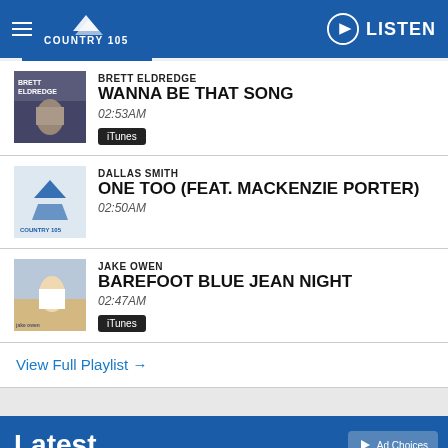COUNTRY 105 — LISTEN
BRETT ELDREDGE — WANNA BE THAT SONG — 02:53AM — iTunes
DALLAS SMITH — ONE TOO (FEAT. MACKENZIE PORTER) — 02:50AM
JAKE OWEN — BAREFOOT BLUE JEAN NIGHT — 02:47AM — iTunes
View Full Playlist →
Latest